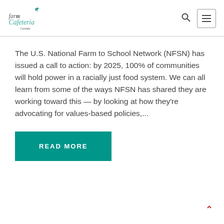Farm to Cafeteria Canada [logo] [search icon] [menu icon]
The U.S. National Farm to School Network (NFSN) has issued a call to action: by 2025, 100% of communities will hold power in a racially just food system. We can all learn from some of the ways NFSN has shared they are working toward this — by looking at how they're advocating for values-based policies,...
READ MORE